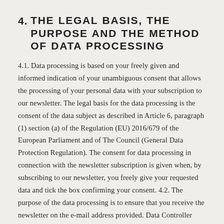4. THE LEGAL BASIS, THE PURPOSE AND THE METHOD OF DATA PROCESSING
4.1. Data processing is based on your freely given and informed indication of your unambiguous consent that allows the processing of your personal data with your subscription to our newsletter. The legal basis for the data processing is the consent of the data subject as described in Article 6, paragraph (1) section (a) of the Regulation (EU) 2016/679 of the European Parliament and of The Council (General Data Protection Regulation). The consent for data processing in connection with the newsletter subscription is given when, by subscribing to our newsletter, you freely give your requested data and tick the box confirming your consent. 4.2. The purpose of the data processing is to ensure that you receive the newsletter on the e-mail address provided. Data Controller only uses your data for the purpose of